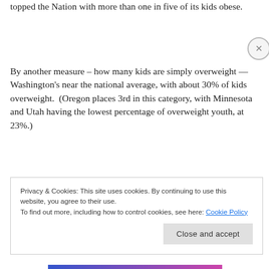topped the Nation with more than one in five of its kids obese.
By another measure – how many kids are simply overweight — Washington's near the national average, with about 30% of kids overweight.  (Oregon places 3rd in this category, with Minnesota and Utah having the lowest percentage of overweight youth, at 23%.)
Privacy & Cookies: This site uses cookies. By continuing to use this website, you agree to their use.
To find out more, including how to control cookies, see here: Cookie Policy
Close and accept